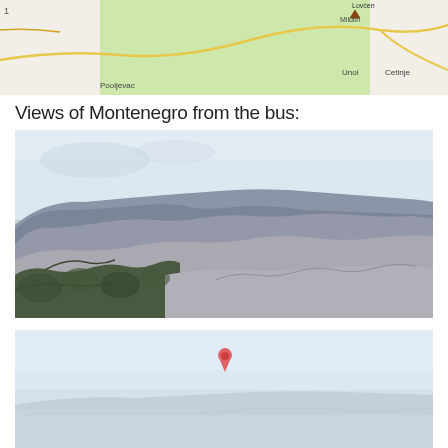[Figure (map): Partial map view showing locations including Pooljevac, Unoi, Cetinje, and a green shaded region, with road lines visible.]
Views of Montenegro from the bus:
[Figure (photo): Photograph of rugged mountain landscape in Montenegro, showing rocky peaks covered with sparse vegetation and trees, taken from a bus window.]
[Figure (photo): Partial view of another Montenegro landscape photo, showing sky and distant mountains, cut off at bottom of page.]